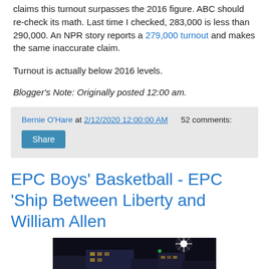claims this turnout surpasses the 2016 figure. ABC should re-check its math. Last time I checked, 283,000 is less than 290,000. An NPR story reports a 279,000 turnout and makes the same inaccurate claim.
Turnout is actually below 2016 levels.
Blogger's Note: Originally posted 12:00 am.
Bernie O'Hare at 2/12/2020 12:00:00 AM   52 comments:
Share
EPC Boys' Basketball - EPC 'Ship Between Liberty and William Allen
[Figure (photo): Nighttime exterior photo of PPL Center arena building with bright light flare and illuminated signage visible]